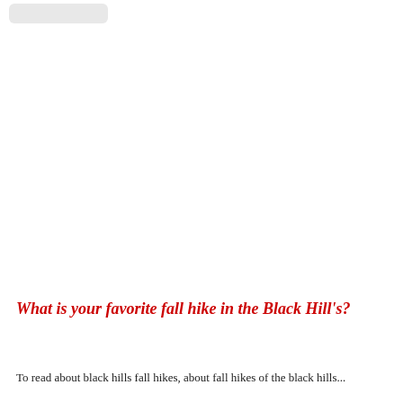What is your favorite fall hike in the Black Hill's?
To read about black hills fall hikes, about fall hikes of the black hills...